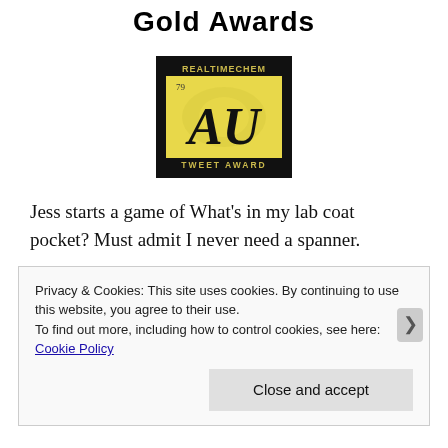Gold Awards
[Figure (logo): RealTimeChem AU Tweet Award badge — black background with yellow periodic-table-style tile showing element symbol AU, atomic number 79, text REALTIMECHEM at top and TWEET AWARD at bottom]
Jess starts a game of What's in my lab coat pocket? Must admit I never need a spanner.
Privacy & Cookies: This site uses cookies. By continuing to use this website, you agree to their use.
To find out more, including how to control cookies, see here: Cookie Policy